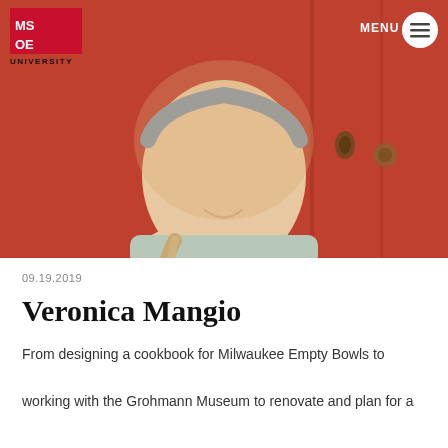[Figure (photo): Young woman with a braided hairstyle and patterned headband, smiling in front of a red door. MSOE University logo in top-left corner and MENU navigation button in top-right.]
09.19.2019
Veronica Mangio
From designing a cookbook for Milwaukee Empty Bowls to working with the Grohmann Museum to renovate and plan for a